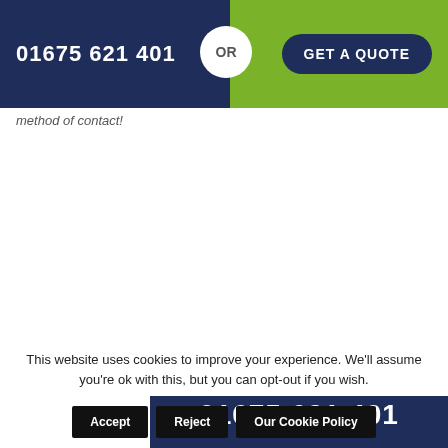[Figure (infographic): Dark navy and green call-to-action banner with phone number 01675 621 401, an OR circle badge, and a GET A QUOTE button]
method of contact!
[Figure (infographic): Dark navy card with NO CALL OUT FEES – CALL NOW heading and phone number 01675 621 401, with green bottom section showing BOOK NOW]
This website uses cookies to improve your experience. We'll assume you're ok with this, but you can opt-out if you wish.
Accept
Reject
Our Cookie Policy